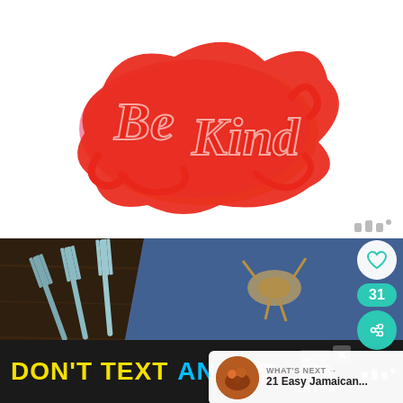[Figure (illustration): Colorful typographic illustration reading 'Be Kind' in ornate red script lettering with pink and orange wavy shadow layers, on white background]
[Figure (photo): Overhead food photography showing forks, a rustic plate, twine bow, and denim cloth on dark wooden table surface]
[Figure (infographic): Advertisement banner: DON'T TEXT AND [car emoji] with ad badge and NHTSA logo on dark background]
31
WHAT'S NEXT → 21 Easy Jamaican...